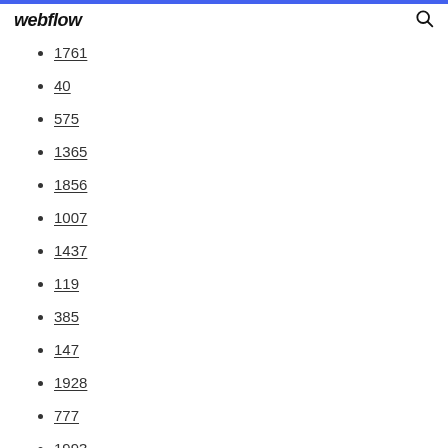webflow
1761
40
575
1365
1856
1007
1437
119
385
147
1928
777
1993